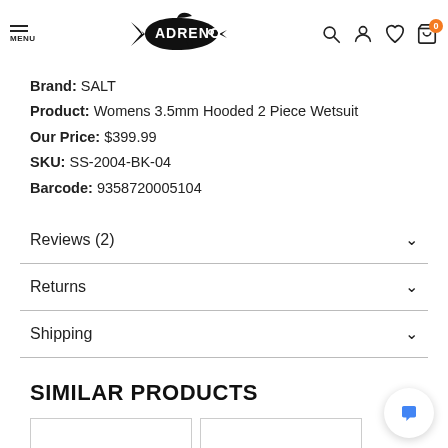ADRENO — MENU | navigation icons: search, account, wishlist, cart (0)
Brand: SALT
Product: Womens 3.5mm Hooded 2 Piece Wetsuit
Our Price: $399.99
SKU: SS-2004-BK-04
Barcode: 9358720005104
Reviews (2)
Returns
Shipping
SIMILAR PRODUCTS
[Figure (other): Two partially visible product thumbnail images at the bottom of the page]